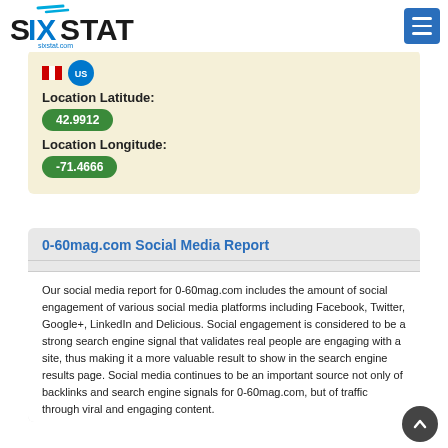SIXSTAT
Location Latitude:
42.9912
Location Longitude:
-71.4666
0-60mag.com Social Media Report
Our social media report for 0-60mag.com includes the amount of social engagement of various social media platforms including Facebook, Twitter, Google+, LinkedIn and Delicious. Social engagement is considered to be a strong search engine signal that validates real people are engaging with a site, thus making it a more valuable result to show in the search engine results page. Social media continues to be an important source not only of backlinks and search engine signals for 0-60mag.com, but of traffic through viral and engaging content.